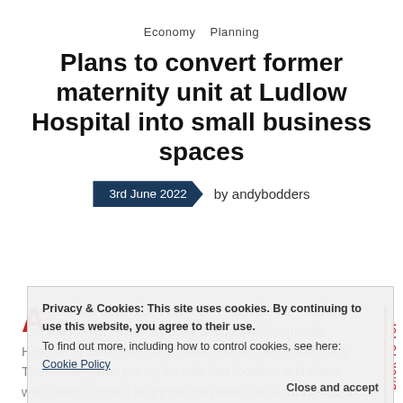Economy   Planning
Plans to convert former maternity unit at Ludlow Hospital into small business spaces
3rd June 2022   by andybodders
A planning application has been submitted to convert the former maternity unity at Ludlow Community Hospital to workshops and office space (22/02263/COU). The building was put up for sale last October and there was concern that it might be converted into apartments, a use that would not be
Privacy & Cookies: This site uses cookies. By continuing to use this website, you agree to their use. To find out more, including how to control cookies, see here: Cookie Policy   Close and accept